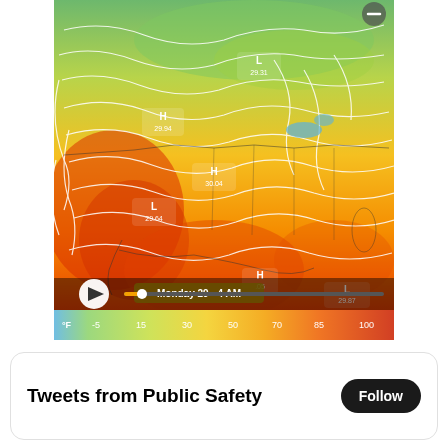[Figure (map): Weather map of North America showing temperature/pressure isobars with high (H) and low (L) pressure systems labeled with values: H 29.94, H 30.04, L 29.64, L 29.31, H .05 (partial), L 29.87. Color gradient from green (cold, north) to deep orange/red (warm, south). Bottom bar shows 'Monday 29 - 4 AM' with play button and timeline scrubber. Temperature scale at bottom: °F, -5, 15, 30, 50, 70, 85, 100.]
Tweets from Public Safety